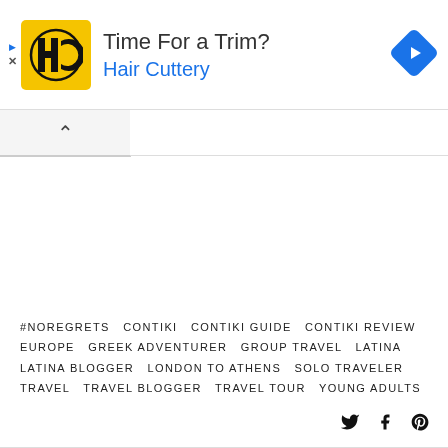[Figure (screenshot): Hair Cuttery advertisement banner with yellow HC logo, 'Time For a Trim?' headline, 'Hair Cuttery' subtitle in blue, and a blue navigation arrow icon on the right.]
#NOREGRETS  CONTIKI  CONTIKI GUIDE  CONTIKI REVIEW  EUROPE  GREEK ADVENTURER  GROUP TRAVEL  LATINA  LATINA BLOGGER  LONDON TO ATHENS  SOLO TRAVELER  TRAVEL  TRAVEL BLOGGER  TRAVEL TOUR  YOUNG ADULTS
[Figure (infographic): Social media share icons: Twitter bird, Facebook f, and Pinterest P]